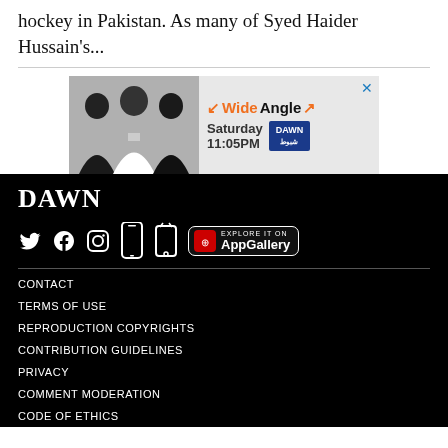hockey in Pakistan. As many of Syed Haider Hussain's...
[Figure (screenshot): Advertisement for DAWN TV show 'Wide Angle' with three men in suits, showing Saturday 11:05PM schedule and DAWN logo badge, with a close button (X) in top right.]
DAWN
Social media icons: Twitter, Facebook, Instagram, iOS app, Android app, AppGallery
CONTACT
TERMS OF USE
REPRODUCTION COPYRIGHTS
CONTRIBUTION GUIDELINES
PRIVACY
COMMENT MODERATION
CODE OF ETHICS